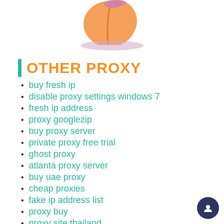[Figure (illustration): Cartoon peach illustration with a pink shadow ellipse beneath it]
OTHER PROXY
buy fresh ip
disable proxy settings windows 7
fresh ip address
proxy googlezip
buy proxy server
private proxy free trial
ghost proxy
atlanta proxy server
buy uae proxy
cheap proxies
fake ip address list
proxy buy
proxy site thailand
socks proxy keeps turning on by itself mac